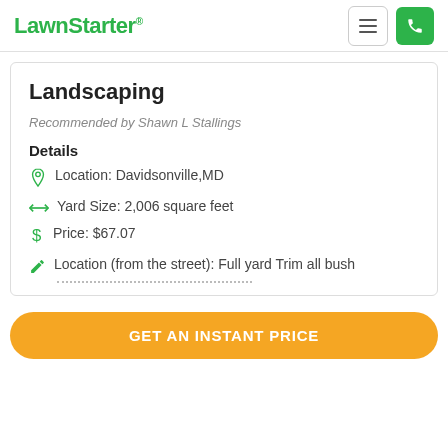LawnStarter
Landscaping
Recommended by Shawn L Stallings
Details
Location: Davidsonville,MD
Yard Size: 2,006 square feet
Price: $67.07
Location (from the street): Full yard Trim all bush
GET AN INSTANT PRICE